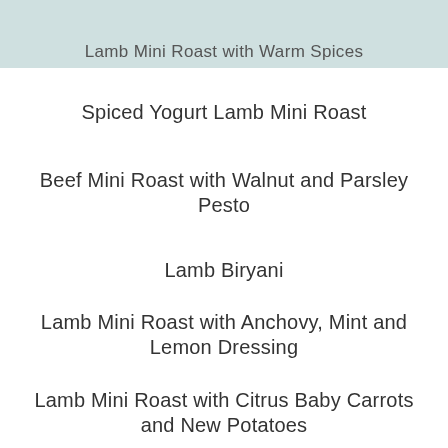Lamb Mini Roast with Warm Spices
Spiced Yogurt Lamb Mini Roast
Beef Mini Roast with Walnut and Parsley Pesto
Lamb Biryani
Lamb Mini Roast with Anchovy, Mint and Lemon Dressing
Lamb Mini Roast with Citrus Baby Carrots and New Potatoes